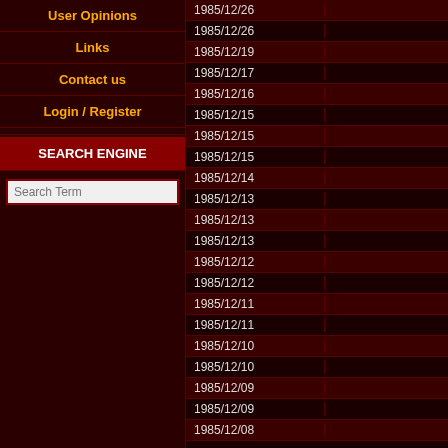User Opinions
Links
Contact us
Login / Register
SEARCH ENGINE
| Date |
| --- |
| 1985/12/26 |
| 1985/12/26 |
| 1985/12/19 |
| 1985/12/17 |
| 1985/12/16 |
| 1985/12/15 |
| 1985/12/15 |
| 1985/12/15 |
| 1985/12/14 |
| 1985/12/13 |
| 1985/12/13 |
| 1985/12/13 |
| 1985/12/12 |
| 1985/12/12 |
| 1985/12/11 |
| 1985/12/11 |
| 1985/12/10 |
| 1985/12/10 |
| 1985/12/09 |
| 1985/12/09 |
| 1985/12/08 |